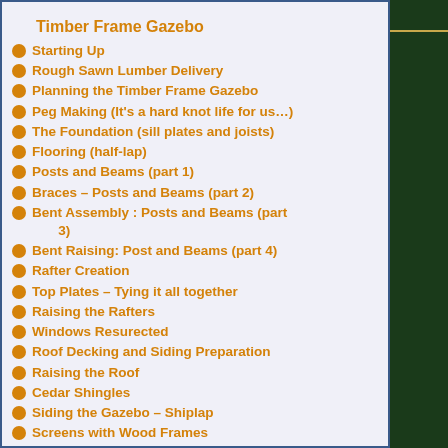Timber Frame Gazebo
Starting Up
Rough Sawn Lumber Delivery
Planning the Timber Frame Gazebo
Peg Making (It's a hard knot life for us…)
The Foundation (sill plates and joists)
Flooring (half-lap)
Posts and Beams (part 1)
Braces – Posts and Beams (part 2)
Bent Assembly : Posts and Beams (part 3)
Bent Raising: Post and Beams (part 4)
Rafter Creation
Top Plates – Tying it all together
Raising the Rafters
Windows Resurected
Roof Decking and Siding Preparation
Raising the Roof
Cedar Shingles
Siding the Gazebo – Shiplap
Screens with Wood Frames
Making Wooden Bolts
Door with Wooden Hinges